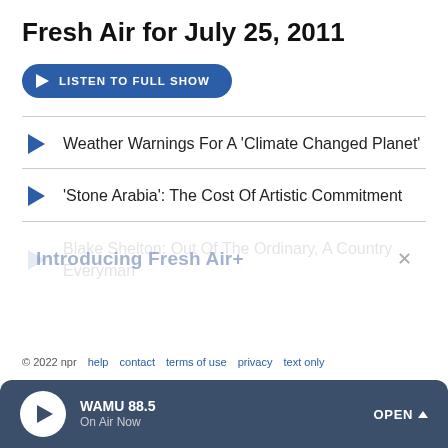Fresh Air for July 25, 2011
[Figure (other): Listen to Full Show button — blue rounded rectangle with play triangle icon and text 'LISTEN TO FULL SHOW']
Weather Warnings For A 'Climate Changed Planet'
'Stone Arabia': The Cost Of Artistic Commitment
Blake Shelton: Out Of The Ordinary, A Country Everyman
[Figure (other): Introducing Fresh Air+ overlay with close X button and subscription pitch text]
© 2022 npr  help  contact  terms of use  privacy  text only
[Figure (other): Bottom player bar: WAMU 88.5 On Air Now with play button and OPEN chevron]